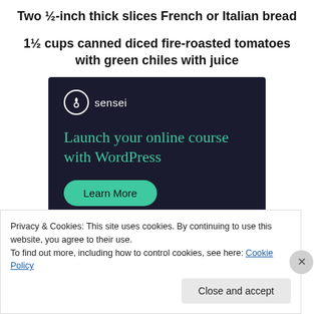Two ½-inch thick slices French or Italian bread
1½ cups canned diced fire-roasted tomatoes with green chiles with juice
[Figure (screenshot): Sensei advertisement banner with dark navy background showing logo, headline 'Launch your online course with WordPress', and a teal 'Learn More' button]
Privacy & Cookies: This site uses cookies. By continuing to use this website, you agree to their use.
To find out more, including how to control cookies, see here: Cookie Policy